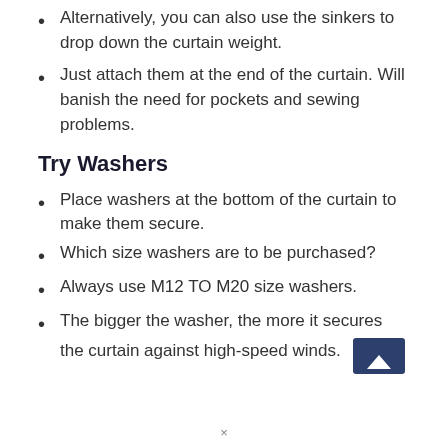Alternatively, you can also use the sinkers to drop down the curtain weight.
Just attach them at the end of the curtain. Will banish the need for pockets and sewing problems.
Try Washers
Place washers at the bottom of the curtain to make them secure.
Which size washers are to be purchased?
Always use M12 TO M20 size washers.
The bigger the washer, the more it secures the curtain against high-speed winds.